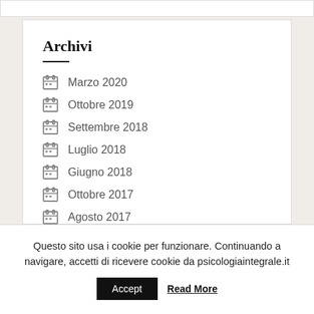Archivi
Marzo 2020
Ottobre 2019
Settembre 2018
Luglio 2018
Giugno 2018
Ottobre 2017
Agosto 2017
Questo sito usa i cookie per funzionare. Continuando a navigare, accetti di ricevere cookie da psicologiaintegrale.it
Accept   Read More